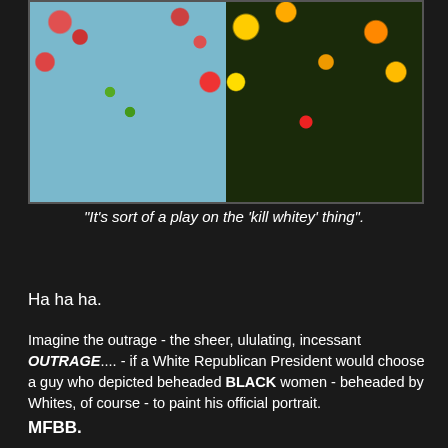[Figure (photo): Two side-by-side paintings depicting Black women holding severed heads of white figures against floral patterned backgrounds. Left image has blue floral wallpaper background with a woman in a beige/gold gown. Right image has dark floral background with a woman in a blue dress.]
“It’s sort of a play on the ‘kill whitey’ thing”.
Ha ha ha.
Imagine the outrage - the sheer, ululating, incessant OUTRAGE.... - if a White Republican President would choose a guy who depicted beheaded BLACK women - beheaded by Whites, of course - to paint his official portrait.
MFBB.